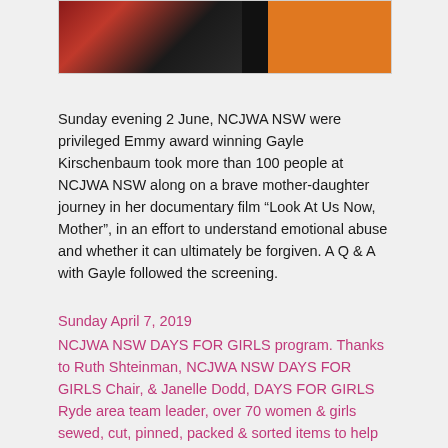[Figure (photo): Partial view of a photograph showing people, partially cropped at the top of the page]
Sunday evening 2 June, NCJWA NSW were privileged Emmy award winning Gayle Kirschenbaum took more than 100 people at NCJWA NSW along on a brave mother-daughter journey in her documentary film “Look At Us Now, Mother”, in an effort to understand emotional abuse and whether it can ultimately be forgiven. A Q & A with Gayle followed the screening.
Sunday April 7, 2019
NCJWA NSW DAYS FOR GIRLS program. Thanks to Ruth Shteinman, NCJWA NSW DAYS FOR GIRLS Chair, & Janelle Dodd, DAYS FOR GIRLS Ryde area team leader, over 70 women & girls sewed, cut, pinned, packed & sorted items to help women & girls in developing countries have access to sanitary products. Thank you to all the generous volunteers